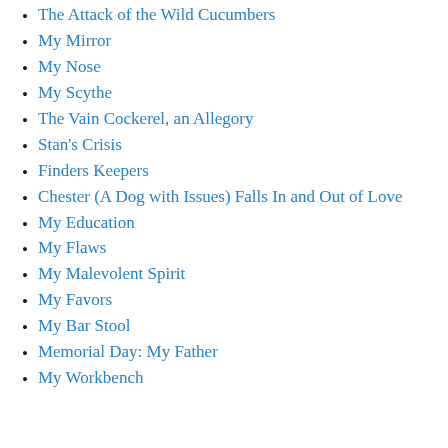The Attack of the Wild Cucumbers
My Mirror
My Nose
My Scythe
The Vain Cockerel, an Allegory
Stan's Crisis
Finders Keepers
Chester (A Dog with Issues) Falls In and Out of Love
My Education
My Flaws
My Malevolent Spirit
My Favors
My Bar Stool
Memorial Day: My Father
My Workbench